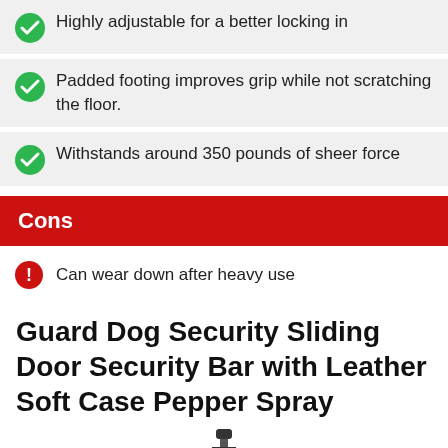Highly adjustable for a better locking in
Padded footing improves grip while not scratching the floor.
Withstands around 350 pounds of sheer force
Cons
Can wear down after heavy use
Guard Dog Security Sliding Door Security Bar with Leather Soft Case Pepper Spray
[Figure (photo): Small icon/image of a security bar product at the bottom of the page]